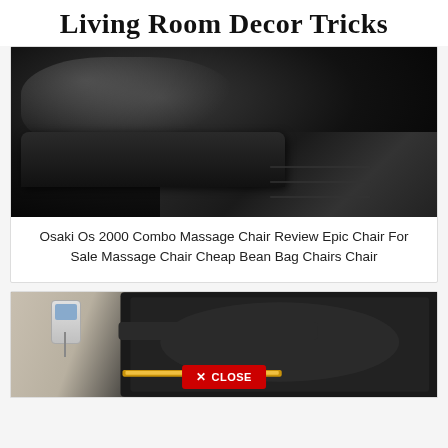Living Room Decor Tricks
[Figure (photo): Close-up photo of a black leather Osaki massage chair with gold accent stripe along the armrest]
Osaki Os 2000 Combo Massage Chair Review Epic Chair For Sale Massage Chair Cheap Bean Bag Chairs Chair
[Figure (photo): Partial photo of a black leather massage chair with a remote control visible, showing a red CLOSE button overlay at the bottom]